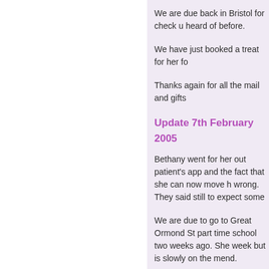We are due back in Bristol for check u heard of before.
We have just booked a treat for her fo
Thanks again for all the mail and gifts
Update 7th February 2005
Bethany went for her out patient's app and the fact that she can now move h wrong. They said still to expect some
We are due to go to Great Ormond St part time school two weeks ago. She week but is slowly on the mend.
Take care and thank you all for you ca
Update 11th January 2005
Just a quick update on Bethany. She knocked her confidence. We are due